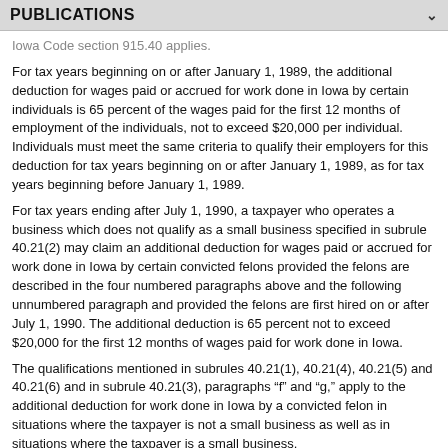PUBLICATIONS
Iowa Code section 915.40 applies.
For tax years beginning on or after January 1, 1989, the additional deduction for wages paid or accrued for work done in Iowa by certain individuals is 65 percent of the wages paid for the first 12 months of employment of the individuals, not to exceed $20,000 per individual. Individuals must meet the same criteria to qualify their employers for this deduction for tax years beginning on or after January 1, 1989, as for tax years beginning before January 1, 1989.
For tax years ending after July 1, 1990, a taxpayer who operates a business which does not qualify as a small business specified in subrule 40.21(2) may claim an additional deduction for wages paid or accrued for work done in Iowa by certain convicted felons provided the felons are described in the four numbered paragraphs above and the following unnumbered paragraph and provided the felons are first hired on or after July 1, 1990. The additional deduction is 65 percent not to exceed $20,000 for the first 12 months of wages paid for work done in Iowa.
The qualifications mentioned in subrules 40.21(1), 40.21(4), 40.21(5) and 40.21(6) and in subrule 40.21(3), paragraphs “f” and “g,” apply to the additional deduction for work done in Iowa by a convicted felon in situations where the taxpayer is not a small business as well as in situations where the taxpayer is a small business.
The additional deduction applies to any individual hired on or after July 1, 2001, whether or not domiciled in Iowa at the time of hiring, who is on parole or probation and to whom either the interstate probation and parole compact under Iowa Code section 907A.1 or the compact for adult offenders under Iowa Code chapter 907B applies. The amount of additional deduction for hiring this individual is equal to 65